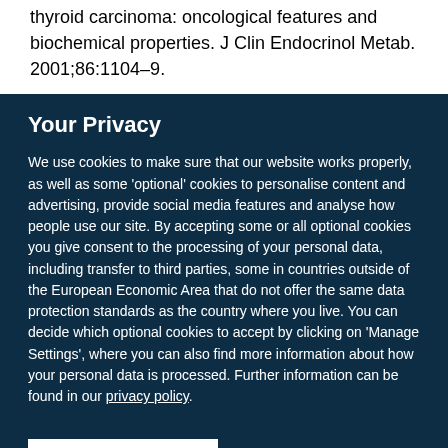thyroid carcinoma: oncological features and biochemical properties. J Clin Endocrinol Metab. 2001;86:1104–9.
Your Privacy
We use cookies to make sure that our website works properly, as well as some 'optional' cookies to personalise content and advertising, provide social media features and analyse how people use our site. By accepting some or all optional cookies you give consent to the processing of your personal data, including transfer to third parties, some in countries outside of the European Economic Area that do not offer the same data protection standards as the country where you live. You can decide which optional cookies to accept by clicking on 'Manage Settings', where you can also find more information about how your personal data is processed. Further information can be found in our privacy policy.
Accept all cookies
Manage preferences